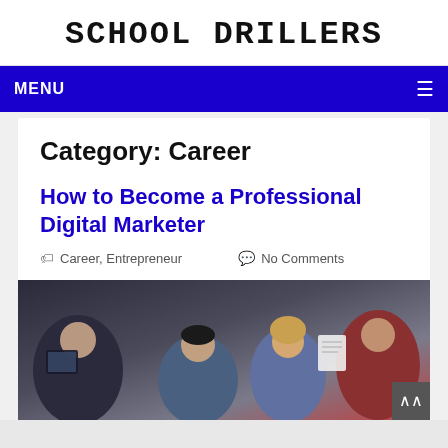SCHOOL DRILLERS
MENU
Category: Career
How to Become a Professional Digital Marketer
Career, Entrepreneur   No Comments
[Figure (photo): Group of young professionals looking at documents and tablets in a meeting setting]